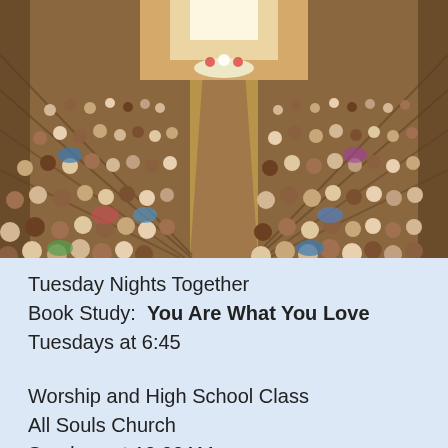[Figure (photo): Aerial view of a packed church congregation seated in wooden pews, viewed from the back toward the altar and chancel with ornate wooden architecture and flowers at the front.]
Tuesday Nights Together
Book Study:  You Are What You Love
Tuesdays at 6:45
Worship and High School Class
All Souls Church
Sundays at 10:00AM